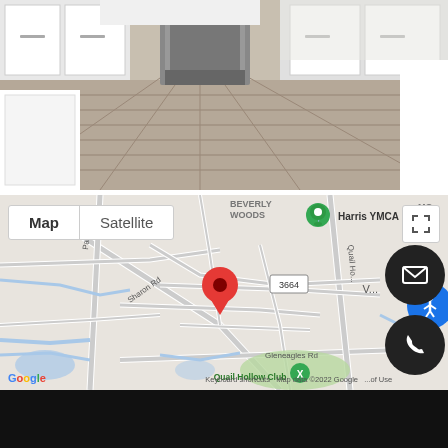[Figure (photo): Kitchen interior photo showing white cabinets, stainless steel appliances, and hardwood flooring]
[Figure (map): Google Maps screenshot showing location near Quail Hollow Club and Harris YMCA in Charlotte NC area, with red location pin, Map/Satellite toggle, Park Rd, Sharon Rd, Gleneagles Rd visible, map data 2022 Google]